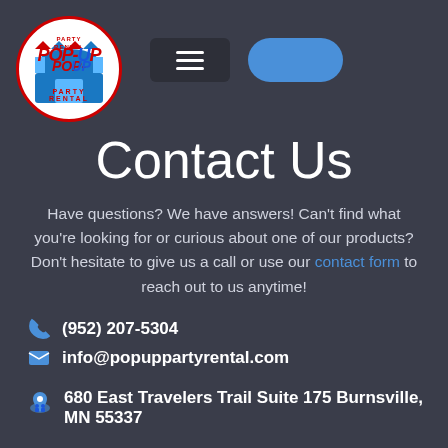[Figure (logo): Pop-Up Party Rental logo: circular white logo with red border, red italic 'Pop-Up' text with blue 'U', red 'Party Rental' text, bounce house graphic]
[Figure (other): Dark hamburger menu button with three white horizontal lines]
[Figure (other): Blue rounded cart button with white shopping cart icon and small purple badge showing '0']
Contact Us
Have questions? We have answers! Can't find what you're looking for or curious about one of our products? Don't hesitate to give us a call or use our contact form to reach out to us anytime!
(952) 207-5304
info@popuppartyrental.com
680 East Travelers Trail Suite 175 Burnsville, MN 55337